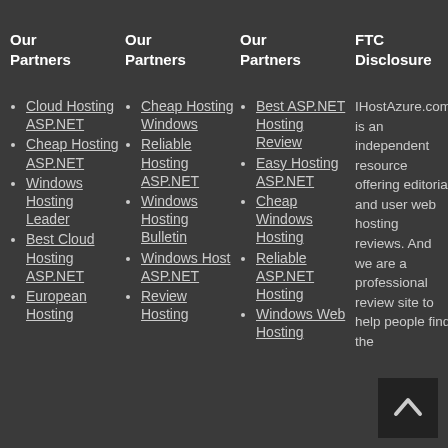Our Partners
Our Partners
Our Partners
FTC Disclosure
About Author
Cloud Hosting ASP.NET
Cheap Hosting ASP.NET
Windows Hosting Leader
Best Cloud Hosting ASP.NET
European Hosting
Cheap Hosting Windows
Reliable Hosting ASP.NET
Windows Hosting Bulletin
Windows Host ASP.NET
Review Hosting
Best ASP.NET Hosting Review
Easy Hosting ASP.NET
Cheap Windows Hosting
Reliable ASP.NET Hosting
Windows Web Hosting
IHostAzure.com is an independent resource offering editorial and user web hosting reviews. And we are a professional review site to help people find the